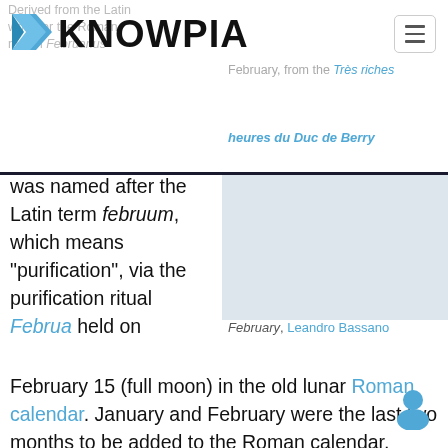KNOWPIA
Derived from the Latin word for the Roman month Februarius
February, from the Très riches heures du Duc de Berry
[Figure (illustration): A painting depicting February, from the Très riches heures du Duc de Berry]
February, Leandro Bassano
was named after the Latin term februum, which means "purification", via the purification ritual Februa held on February 15 (full moon) in the old lunar Roman calendar. January and February were the last two months to be added to the Roman calendar, since the Romans originally considered winter a monthless period. They were added by Numa Pompilius about 713 BC. February remained the last month of the calendar year until the time of the decemvirs (c. 450 BC), when it became the second month. At